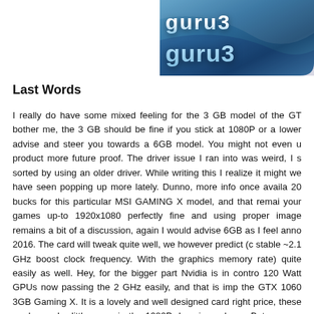[Figure (logo): Guru3D website logo with blue metallic gradient background and white/light-blue stylized text reading 'guru3' in bold font]
Last Words
I really do have some mixed feeling for the 3 GB model of the GTX 1060. Don't bother me, the 3 GB should be fine if you stick at 1080P or a lower resolution. But I advise and steer you towards a 6GB model. You might not even use it, but it makes the product more future proof. The driver issue I ran into was weird, I seemed to have gotten it sorted by using an older driver. While writing this I realize it might be a driver bug that we have seen popping up more lately. Dunno, more info once available. You'll pay roughly 20 bucks for this particular MSI GAMING X model, and that remains a fair deal. Play your games up-to 1920x1080 perfectly fine and using proper image quality settings. If VRAM remains a bit of a discussion, again I would advise 6GB as I feel that is the safer choice anno 2016. The card will tweak quite well, we however predict (conservatively) an easy stable ~2.1 GHz boost clock frequency. With the graphics memory you can add fill-rate) quite easily as well. Hey, for the bigger part Nvidia is in control of that. Anyway, 120 Watt GPUs now passing the 2 GHz easily, and that is impressive. So overall for the GTX 1060 3GB Gaming X. It is a lovely and well designed card from MSI, at the right price, these cards can be little gems in the 1080P domain and a full product package. But yes you might like it or not, I'll stick to what I stated. 6GB is the preferred model.